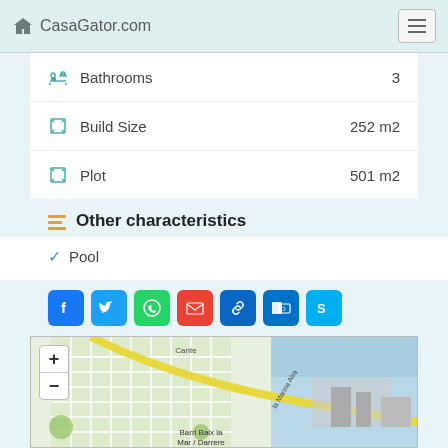CasaGator.com
Bathrooms  3
Build Size  252 m2
Plot  501 m2
Other characteristics
✓ Pool
[Figure (screenshot): Social share buttons: Facebook, Twitter, WhatsApp, Gmail, LinkedIn, Outlook, Skype]
[Figure (map): OpenStreetMap showing Barri Baix la Mar / Darrere area with la Marina Alta labeled, zoom controls visible]